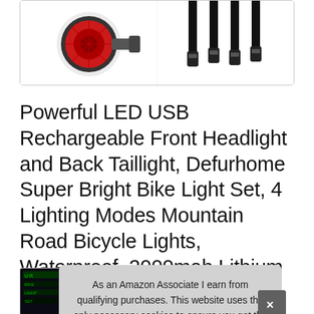[Figure (photo): Product image box showing two items: left side shows a red and black LED bike taillight, right side shows multiple USB charging cables plugged in.]
Powerful LED USB Rechargeable Front Headlight and Back Taillight, Defurhome Super Bright Bike Light Set, 4 Lighting Modes Mountain Road Bicycle Lights, Waterproof, 2000mah Lithium Battery
[Figure (screenshot): Small product thumbnail image (partially visible, dark background with green text)]
As an Amazon Associate I earn from qualifying purchases. This website uses the only necessary cookies to ensure you get the best experience on our website. More information